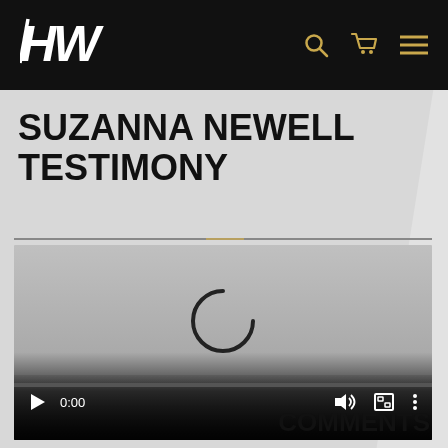HW (logo) with search, cart, and menu icons
SUZANNA NEWELL TESTIMONY
[Figure (screenshot): Video player showing a loading spinner (spinning arc), time display 0:00, play button, volume, fullscreen, and more options icons, with a progress bar at the bottom.]
COMMENTS